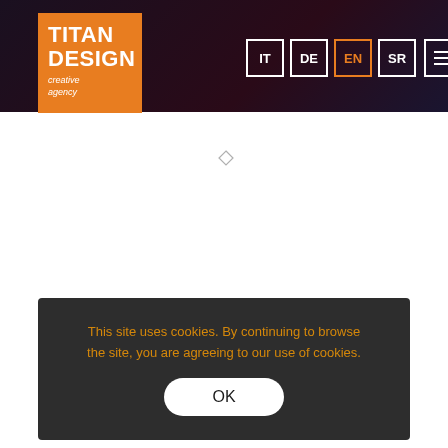[Figure (logo): Titan Design creative agency logo — orange square with white bold text TITAN DESIGN and italic subtitle 'creative agency']
IT  DE  EN  SR  [hamburger menu]
[Figure (illustration): Small diamond/rhombus outline icon in the center of white area]
This site uses cookies. By continuing to browse the site, you are agreeing to our use of cookies.
OK